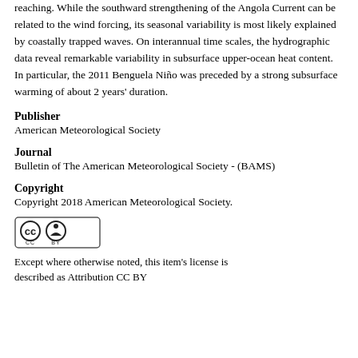reaching. While the southward strengthening of the Angola Current can be related to the wind forcing, its seasonal variability is most likely explained by coastally trapped waves. On interannual time scales, the hydrographic data reveal remarkable variability in subsurface upper-ocean heat content. In particular, the 2011 Benguela Niño was preceded by a strong subsurface warming of about 2 years' duration.
Publisher
American Meteorological Society
Journal
Bulletin of The American Meteorological Society - (BAMS)
Copyright
Copyright 2018 American Meteorological Society.
[Figure (logo): Creative Commons CC BY license badge with CC and BY icons in a rounded rectangle]
Except where otherwise noted, this item's license is described as Attribution CC BY